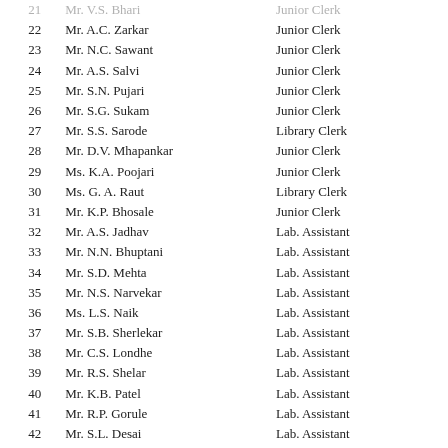| No. | Name | Designation |
| --- | --- | --- |
| 21 | Mr. V.S. Bhari | Junior Clerk |
| 22 | Mr. A.C. Zarkar | Junior Clerk |
| 23 | Mr. N.C. Sawant | Junior Clerk |
| 24 | Mr. A.S. Salvi | Junior Clerk |
| 25 | Mr. S.N. Pujari | Junior Clerk |
| 26 | Mr. S.G. Sukam | Junior Clerk |
| 27 | Mr. S.S. Sarode | Library Clerk |
| 28 | Mr. D.V. Mhapankar | Junior Clerk |
| 29 | Ms. K.A. Poojari | Junior Clerk |
| 30 | Ms. G. A. Raut | Library Clerk |
| 31 | Mr. K.P. Bhosale | Junior Clerk |
| 32 | Mr. A.S. Jadhav | Lab. Assistant |
| 33 | Mr. N.N. Bhuptani | Lab. Assistant |
| 34 | Mr. S.D. Mehta | Lab. Assistant |
| 35 | Mr. N.S. Narvekar | Lab. Assistant |
| 36 | Ms. L.S. Naik | Lab. Assistant |
| 37 | Mr. S.B. Sherlekar | Lab. Assistant |
| 38 | Mr. C.S. Londhe | Lab. Assistant |
| 39 | Mr. R.S. Shelar | Lab. Assistant |
| 40 | Mr. K.B. Patel | Lab. Assistant |
| 41 | Mr. R.P. Gorule | Lab. Assistant |
| 42 | Mr. S.L. Desai | Lab. Assistant |
| 43 | Mr. A.B. Chalke | Lab. Assistant |
| 44 | Mr. ... | Lab. Assistant |